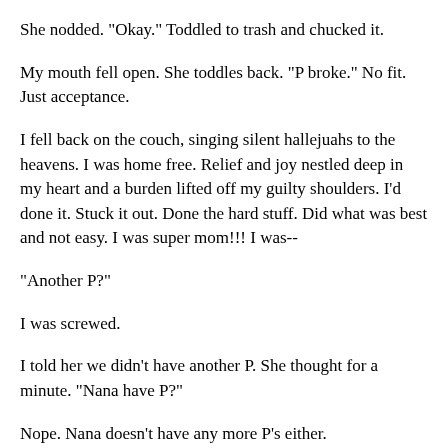She nodded. "Okay." Toddled to trash and chucked it.
My mouth fell open. She toddles back. "P broke." No fit. Just acceptance.
I fell back on the couch, singing silent hallejuahs to the heavens. I was home free. Relief and joy nestled deep in my heart and a burden lifted off my guilty shoulders. I'd done it. Stuck it out. Done the hard stuff. Did what was best and not easy. I was super mom!!! I was--
"Another P?"
I was screwed.
I told her we didn't have another P. She thought for a minute. "Nana have P?"
Nope. Nana doesn't have any more P's either.
Sad face. "P broke."